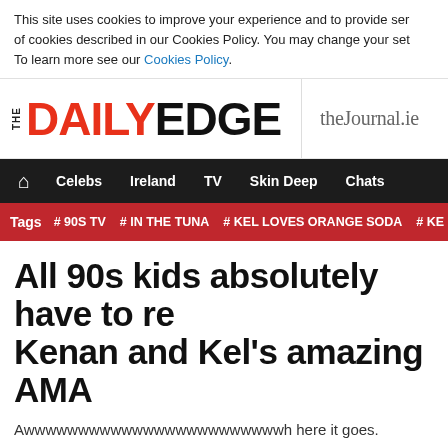This site uses cookies to improve your experience and to provide ser... of cookies described in our Cookies Policy. You may change your set... To learn more see our Cookies Policy.
[Figure (logo): The Daily Edge logo with red DAILY and black EDGE text, alongside thejournal.ie partner logo]
Celebs  Ireland  TV  Skin Deep  Chats
Tags  # 90S TV  # IN THE TUNA  # KEL LOVES ORANGE SODA  # KE...
All 90s kids absolutely have to re... Kenan and Kel's amazing AMA
Awwwwwwwwwwwwwwwwwwwwwwwwh here it goes.
Feb 22nd 2015, 11:45 AM  6,402 Views  3 Comments  Share